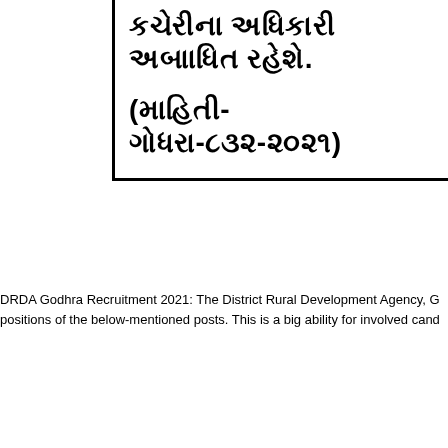કચેરીના અધિકારી અબાધિત રહેશે.
(માहिती- ગોધરા-૮૩૨-૨૦૨૧)
DRDA Godhra Recruitment 2021: The District Rural Development Agency, G positions of the below-mentioned posts. This is a big ability for involved cand